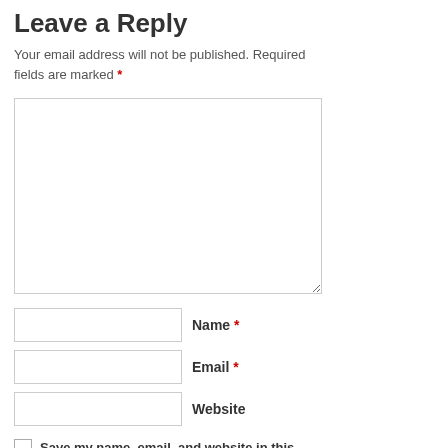Leave a Reply
Your email address will not be published. Required fields are marked *
[Figure (other): Comment text area input box]
Name *
Email *
Website
Save my name, email, and website in this browser for the next time I comment.